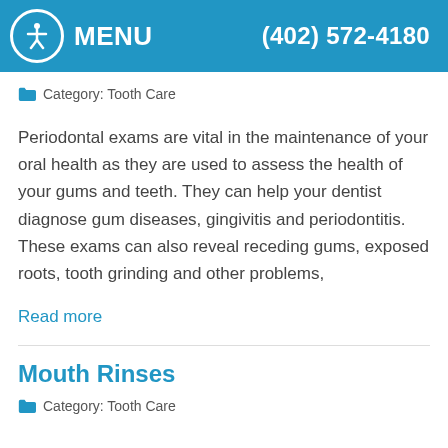MENU   (402) 572-4180
Category: Tooth Care
Periodontal exams are vital in the maintenance of your oral health as they are used to assess the health of your gums and teeth. They can help your dentist diagnose gum diseases, gingivitis and periodontitis. These exams can also reveal receding gums, exposed roots, tooth grinding and other problems,
Read more
Mouth Rinses
Category: Tooth Care